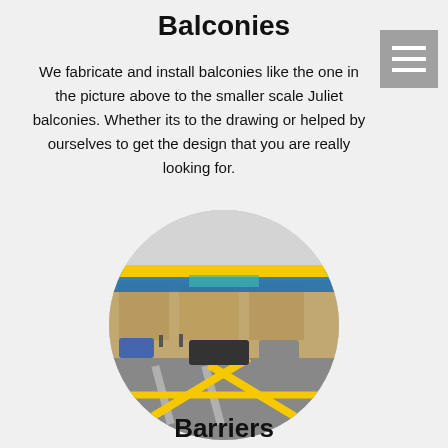Balconies
We fabricate and install balconies like the one in the picture above to the smaller scale Juliet balconies. Whether its to the drawing or helped by ourselves to get the design that you are really looking for.
[Figure (photo): A circular photo showing yellow barriers/railings in a car park area in front of a commercial building, with vehicles and people visible in the background.]
Barriers